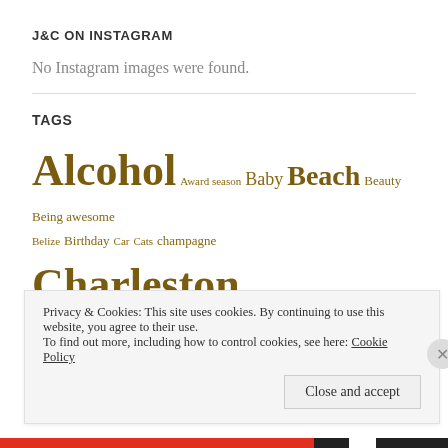J&C ON INSTAGRAM
No Instagram images were found.
TAGS
Alcohol Award season Baby Beach Beauty Being awesome Belize Birthday Car Cats champagne Charleston Chats Claire Coco Plum Cay College Craziness
Privacy & Cookies: This site uses cookies. By continuing to use this website, you agree to their use.
To find out more, including how to control cookies, see here: Cookie Policy
Close and accept